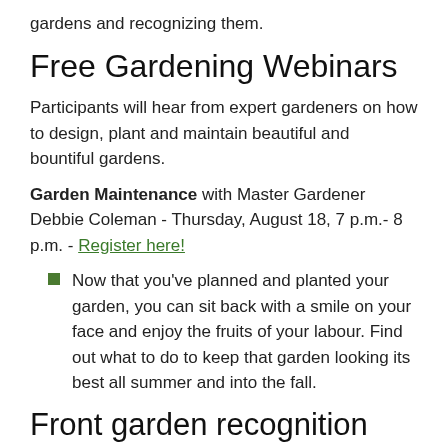gardens and recognizing them.
Free Gardening Webinars
Participants will hear from expert gardeners on how to design, plant and maintain beautiful and bountiful gardens.
Garden Maintenance with Master Gardener Debbie Coleman - Thursday, August 18, 7 p.m.- 8 p.m. - Register here!
Now that you've planned and planted your garden, you can sit back with a smile on your face and enjoy the fruits of your labour. Find out what to do to keep that garden looking its best all summer and into the fall.
Front garden recognition program
Nominate your own front garden or the front gardens of family and friends in Richmond Hill!